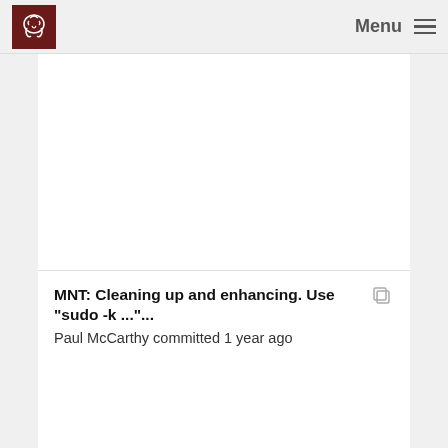Menu
MNT: Cleaning up and enhancing. Use "sudo -k ..."...
Paul McCarthy committed 1 year ago
MNT: Filling in installer script. Should all be consi...
Paul McCarthy committed 1 year ago
ENH: Enhancements to progress bar, new --workd...
Paul McCarthy committed 1 year ago